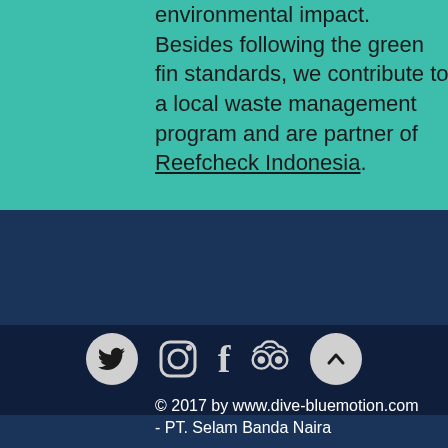environmental impact. Besides following the green fin standards, we contribute to a local waste management program and are partner of Reefcheck Indonesia.
[Figure (other): Social media icons row: Twitter (bird, filled circle), Instagram (outline), Facebook (f letter), TripAdvisor (owl eyes outline), and a scroll-to-top button (chevron up, filled circle)]
© 2017 by www.dive-bluemotion.com - PT. Selam Banda Naira